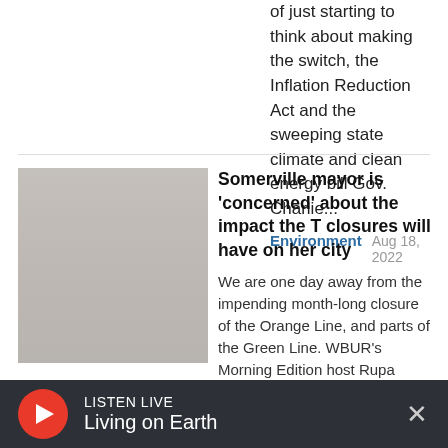of just starting to think about making the switch, the Inflation Reduction Act and the sweeping state climate and clean energy bill Gov. Charlie...
Environment  Aug 18, 2022
[Figure (photo): Thumbnail photo of a person standing outdoors]
Somerville mayor is 'concerned' about the impact the T closures will have on her city
We are one day away from the impending month-long closure of the Orange Line, and parts of the Green Line. WBUR's Morning Edition host Rupa Shenoy is joined by Somerville...
Local Coverage  03:56  Aug 18, 2022
LISTEN LIVE  Living on Earth